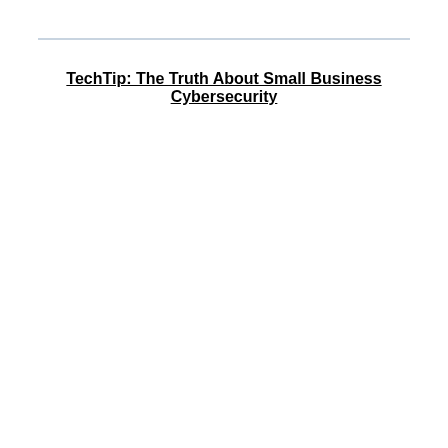TechTip: The Truth About Small Business Cybersecurity